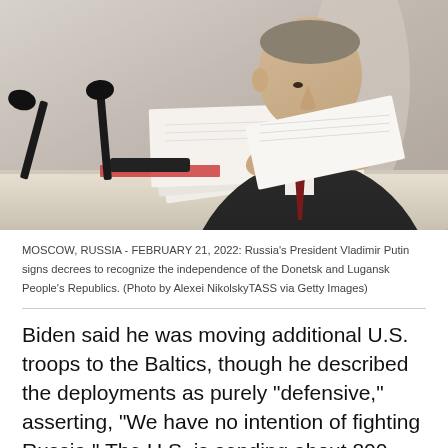[Figure (photo): A man in a dark suit, identified as Russia's President Vladimir Putin, sits at a table with microphones and papers, reading documents.]
MOSCOW, RUSSIA - FEBRUARY 21, 2022: Russia's President Vladimir Putin signs decrees to recognize the independence of the Donetsk and Lugansk People's Republics. (Photo by Alexei NikolskyTASS via Getty Images)
Biden said he was moving additional U.S. troops to the Baltics, though he described the deployments as purely "defensive," asserting, "We have no intention of fighting Russia." The U.S. is sending about 800 infantry troops and 40 attack aircraft to the Baltics and NATO's